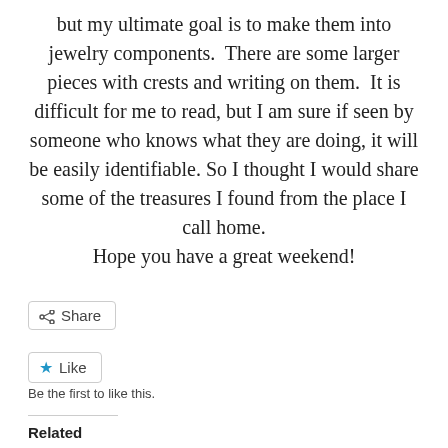but my ultimate goal is to make them into jewelry components.  There are some larger pieces with crests and writing on them.  It is difficult for me to read, but I am sure if seen by someone who knows what they are doing, it will be easily identifiable.  So I thought I would share some of the treasures I found from the place I call home. Hope you have a great weekend!
Share
Like
Be the first to like this.
Related
Hooray December!
December 2, 2010
In "abaco"
Quilt Blogger's Festival
May 25, 2010
In "fabric stuff"